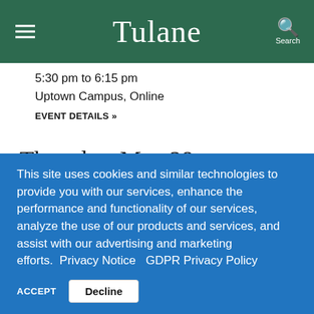Tulane
5:30 pm to 6:15 pm
Uptown Campus, Online
EVENT DETAILS »
Thursday, May 28
This site uses cookies and similar technologies to provide you with our services, enhance the performance and functionality of our services, analyze the use of our products and services, and assist with our advertising and marketing efforts. Privacy Notice  GDPR Privacy Policy
ACCEPT
Decline